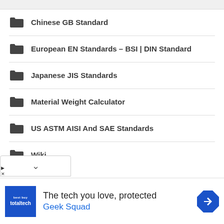Chinese GB Standard
European EN Standards – BSI | DIN Standard
Japanese JIS Standards
Material Weight Calculator
US ASTM AISI And SAE Standards
Wiki
[Figure (screenshot): Advertisement banner: Best Buy Total Tech logo, text 'The tech you love, protected', 'Geek Squad', blue navigation arrow icon]